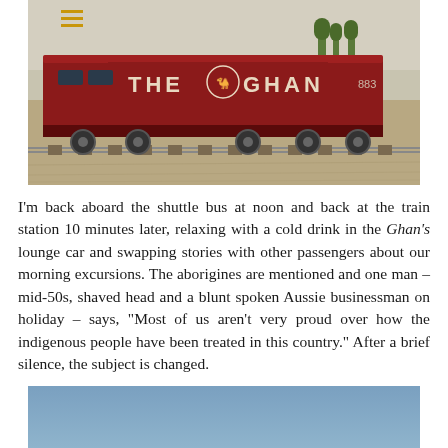[Figure (photo): Red locomotive of The Ghan train at a station, with 'THE GHAN' lettering and a camel logo on the side. Sandy/dusty ground in the foreground, trees in background.]
I'm back aboard the shuttle bus at noon and back at the train station 10 minutes later, relaxing with a cold drink in the Ghan's lounge car and swapping stories with other passengers about our morning excursions. The aborigines are mentioned and one man – mid-50s, shaved head and a blunt spoken Aussie businessman on holiday – says, "Most of us aren't very proud over how the indigenous people have been treated in this country." After a brief silence, the subject is changed.
[Figure (photo): Blue sky partial view, bottom portion of a second photo on the page.]